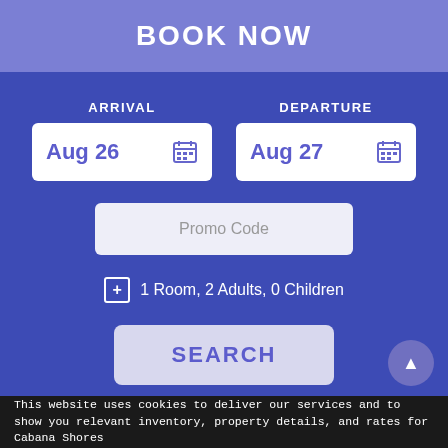BOOK NOW
ARRIVAL
Aug 26
DEPARTURE
Aug 27
Promo Code
1 Room, 2 Adults, 0 Children
SEARCH
This website uses cookies to deliver our services and to show you relevant inventory, property details, and rates for Cabana Shores